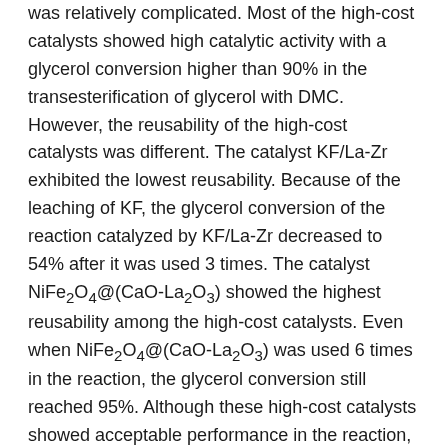was relatively complicated. Most of the high-cost catalysts showed high catalytic activity with a glycerol conversion higher than 90% in the transesterification of glycerol with DMC. However, the reusability of the high-cost catalysts was different. The catalyst KF/La-Zr exhibited the lowest reusability. Because of the leaching of KF, the glycerol conversion of the reaction catalyzed by KF/La-Zr decreased to 54% after it was used 3 times. The catalyst NiFe₂O₄@(CaO-La₂O₃) showed the highest reusability among the high-cost catalysts. Even when NiFe₂O₄@(CaO-La₂O₃) was used 6 times in the reaction, the glycerol conversion still reached 95%. Although these high-cost catalysts showed acceptable performance in the reaction, the expensive chemical reagents needed during preparation, and the relatively complicated preparation procedure, hinders the industrial